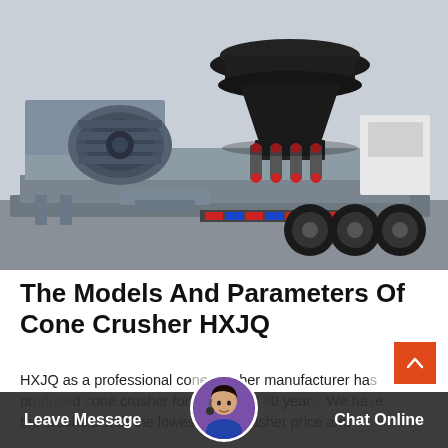[Figure (photo): A mobile cone crusher machine mounted on a heavy-duty trailer/truck frame, photographed inside an industrial building. The machine features a large black cone crusher head on top, a gray electric motor on the left side with red accents, multiple red hydraulic cylinders, and red/blue striped hoses. The trailer has multiple axles visible on the right.]
The Models And Parameters Of Cone Crusher HXJQ
HXJQ as a professional cone crusher manufacturer has produced cone crusher for more than 40 years. We have the crushers with the lowest cone crusher price and
[Figure (photo): Customer service avatar: a woman wearing a headset, shown in a circular badge at the bottom center of the page.]
Leave Message   Chat Online